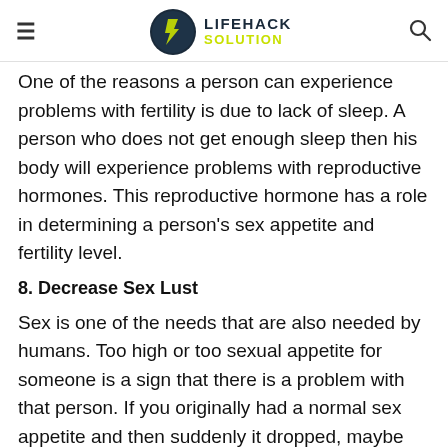LIFEHACK SOLUTION
One of the reasons a person can experience problems with fertility is due to lack of sleep. A person who does not get enough sleep then his body will experience problems with reproductive hormones. This reproductive hormone has a role in determining a person's sex appetite and fertility level.
8. Decrease Sex Lust
Sex is one of the needs that are also needed by humans. Too high or too sexual appetite for someone is a sign that there is a problem with that person. If you originally had a normal sex appetite and then suddenly it dropped, maybe this could be due to your habit of staying up late.